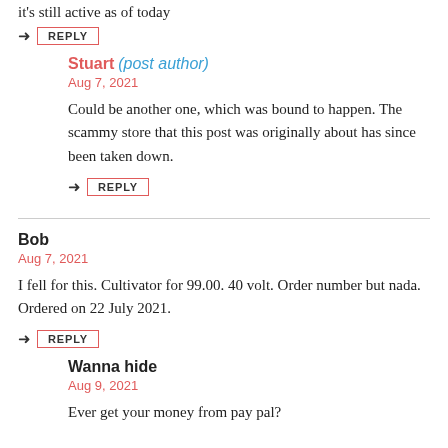it's still active as of today
REPLY
Stuart (post author)
Aug 7, 2021
Could be another one, which was bound to happen. The scammy store that this post was originally about has since been taken down.
REPLY
Bob
Aug 7, 2021
I fell for this. Cultivator for 99.00. 40 volt. Order number but nada. Ordered on 22 July 2021.
REPLY
Wanna hide
Aug 9, 2021
Ever get your money from pay pal?